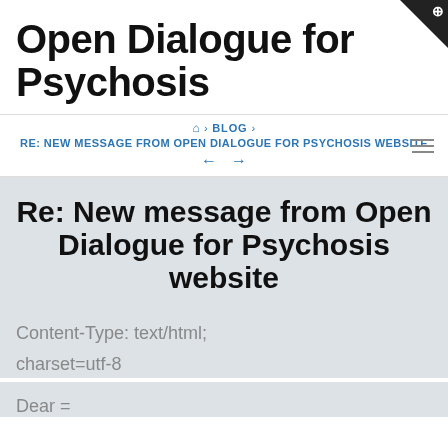Open Dialogue for Psychosis
🏠 › BLOG › RE: NEW MESSAGE FROM OPEN DIALOGUE FOR PSYCHOSIS WEBSITE ← →
Re: New message from Open Dialogue for Psychosis website
Content-Type: text/html;
charset=utf-8
Dear =